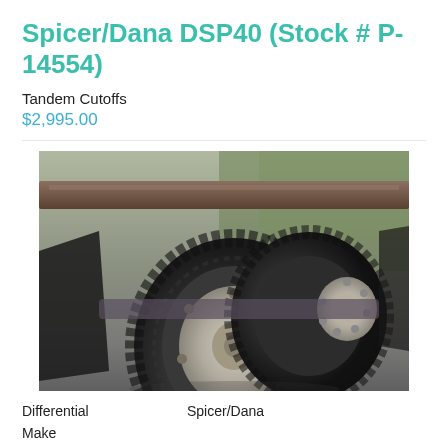Spicer/Dana DSP40 (Stock # P-14554)
Tandem Cutoffs
$2,995.00
[Figure (photo): Photo of tandem axle cutoff assembly with large truck tires on gravel/grass surface]
Differential Make    Spicer/Dana
Make